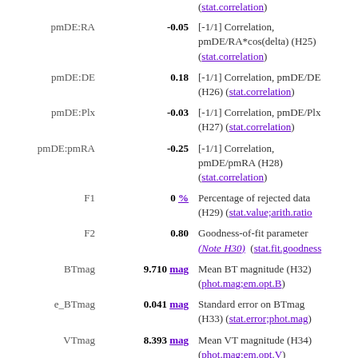| Name | Value | Description |
| --- | --- | --- |
| pmDE:RA | -0.05 | [-1/1] Correlation, pmDE/RA*cos(delta) (H25) (stat.correlation) |
| pmDE:DE | 0.18 | [-1/1] Correlation, pmDE/DE (H26) (stat.correlation) |
| pmDE:Plx | -0.03 | [-1/1] Correlation, pmDE/Plx (H27) (stat.correlation) |
| pmDE:pmRA | -0.25 | [-1/1] Correlation, pmDE/pmRA (H28) (stat.correlation) |
| F1 | 0 % | Percentage of rejected data (H29) (stat.value;arith.ratio) |
| F2 | 0.80 | Goodness-of-fit parameter (Note H30) (stat.fit.goodness) |
| BTmag | 9.710 mag | Mean BT magnitude (H32) (phot.mag;em.opt.B) |
| e_BTmag | 0.041 mag | Standard error on BTmag (H33) (stat.error;phot.mag) |
| VTmag | 8.393 mag | Mean VT magnitude (H34) (phot.mag;em.opt.V) |
| e_VTmag | 0.025 mag | Standard error on VTmag (H35) (stat.error;phot.mag) |